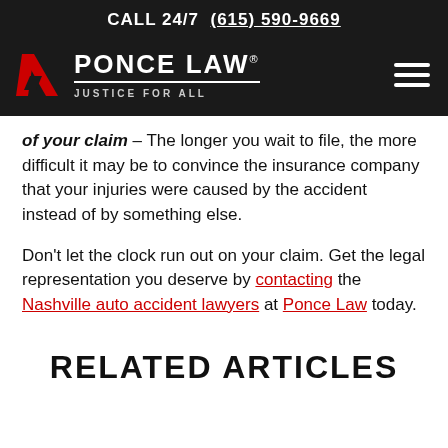CALL 24/7  (615) 590-9669
[Figure (logo): Ponce Law logo with red P icon, white text PONCE LAW, tagline JUSTICE FOR ALL, on dark background with hamburger menu icon]
of your claim – The longer you wait to file, the more difficult it may be to convince the insurance company that your injuries were caused by the accident instead of by something else.
Don't let the clock run out on your claim. Get the legal representation you deserve by contacting the Nashville auto accident lawyers at Ponce Law today.
RELATED ARTICLES